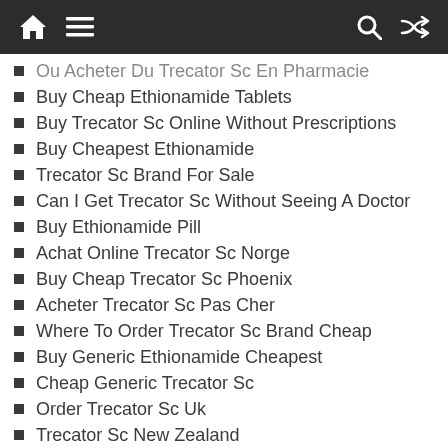Navigation bar with home, menu, search, and shuffle icons
Ou Acheter Du Trecator Sc En Pharmacie
Buy Cheap Ethionamide Tablets
Buy Trecator Sc Online Without Prescriptions
Buy Cheapest Ethionamide
Trecator Sc Brand For Sale
Can I Get Trecator Sc Without Seeing A Doctor
Buy Ethionamide Pill
Achat Online Trecator Sc Norge
Buy Cheap Trecator Sc Phoenix
Acheter Trecator Sc Pas Cher
Where To Order Trecator Sc Brand Cheap
Buy Generic Ethionamide Cheapest
Cheap Generic Trecator Sc
Order Trecator Sc Uk
Trecator Sc New Zealand
Where To Order Online Trecator Sc New York
Ethionamide Brand Pills Buy
Generic Trecator Sc Uk
Generic Trecator Sc No Prescription
Where I Can Purchase Trecator Sc Without